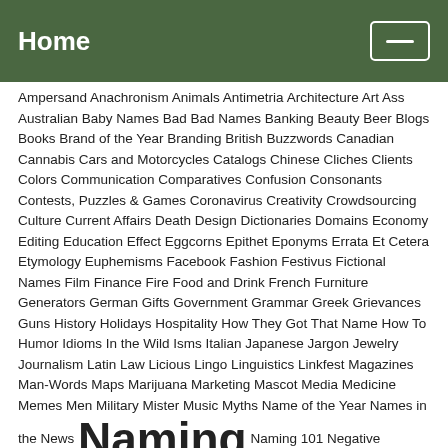Home
Ampersand Anachronism Animals Antimetria Architecture Art Ass Australian Baby Names Bad Bad Names Banking Beauty Beer Blogs Books Brand of the Year Branding British Buzzwords Canadian Cannabis Cars and Motorcycles Catalogs Chinese Cliches Clients Colors Communication Comparatives Confusion Consonants Contests, Puzzles & Games Coronavirus Creativity Crowdsourcing Culture Current Affairs Death Design Dictionaries Domains Economy Editing Education Effect Eggcorns Epithet Eponyms Errata Et Cetera Etymology Euphemisms Facebook Fashion Festivus Fictional Names Film Finance Fire Food and Drink French Furniture Generators German Gifts Government Grammar Greek Grievances Guns History Holidays Hospitality How They Got That Name How To Humor Idioms In the Wild Isms Italian Japanese Jargon Jewelry Journalism Latin Law Licious Lingo Linguistics Linkfest Magazines Man-Words Maps Marijuana Marketing Mascot Media Medicine Memes Men Military Mister Music Myths Name of the Year Names in the News Naming Naming 101 Negative Neologisms New Name Beat Nicely Named Nicknames Nonprofit Numbers Oakland Packaging Passion Perfume Pharmaceutical Photography Picky, Picky Poetry Politics Portmanteaus Profanity Pronunciation Psychology